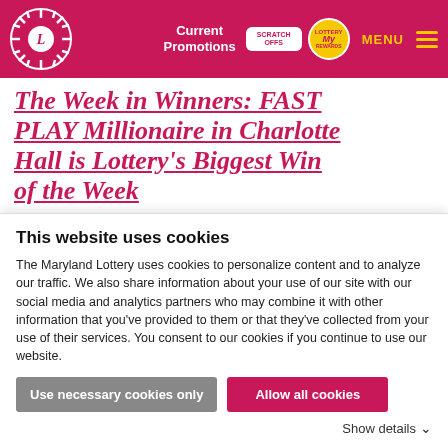Current Promotions | SCRATCH OFFS | MY Rewards | MENU
The Week in Winners: FAST PLAY Millionaire in Charlotte Hall is Lottery's Biggest Win of the Week
August 15, 2022
Players across state won nearly $29.7 million during seven days ending Aug. 14 Maryland has a new millionaire thanks to a FAST PLAY ticket sold Aug. 9 in Charlotte Hall. Meanwhile, three
This website uses cookies
The Maryland Lottery uses cookies to personalize content and to analyze our traffic. We also share information about your use of our site with our social media and analytics partners who may combine it with other information that you've provided to them or that they've collected from your use of their services. You consent to our cookies if you continue to use our website.
Use necessary cookies only | Allow all cookies | Show details